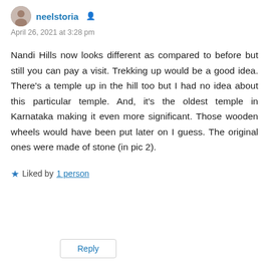neelstoria
April 26, 2021 at 3:28 pm
Nandi Hills now looks different as compared to before but still you can pay a visit. Trekking up would be a good idea. There's a temple up in the hill too but I had no idea about this particular temple. And, it's the oldest temple in Karnataka making it even more significant. Those wooden wheels would have been put later on I guess. The original ones were made of stone (in pic 2).
Liked by 1 person
Reply